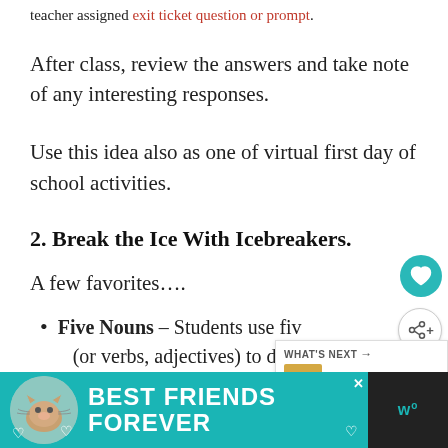teacher assigned exit ticket question or prompt.
After class, review the answers and take note of any interesting responses.
Use this idea also as one of virtual first day of school activities.
2. Break the Ice With Icebreakers.
A few favorites….
Five Nouns – Students use five nouns (or verbs, adjectives) to describe